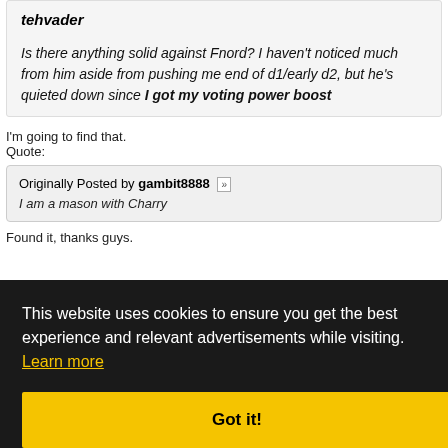tehvader
Is there anything solid against Fnord? I haven't noticed much from him aside from pushing me end of d1/early d2, but he's quieted down since I got my voting power boost
I'm going to find that.
Quote:
Originally Posted by gambit8888
I am a mason with Charry
Found it, thanks guys.
will
ust
I hope you stick around.
This website uses cookies to ensure you get the best experience and relevant advertisements while visiting. Learn more
Got it!